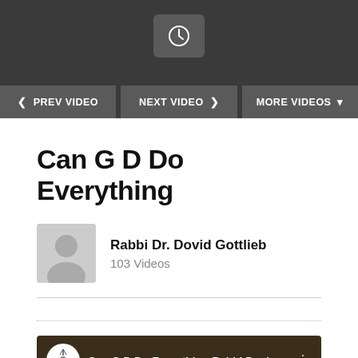[Figure (screenshot): Dark navigation bar with a clock icon button and three navigation buttons: PREV VIDEO, NEXT VIDEO, MORE VIDEOS]
Can G D Do Everything
Rabbi Dr. Dovid Gottlieb
103 Videos
[Figure (screenshot): Video thumbnail showing Ohr Somayach logo and text: Can G D Do Everything Rabbi Dovi]